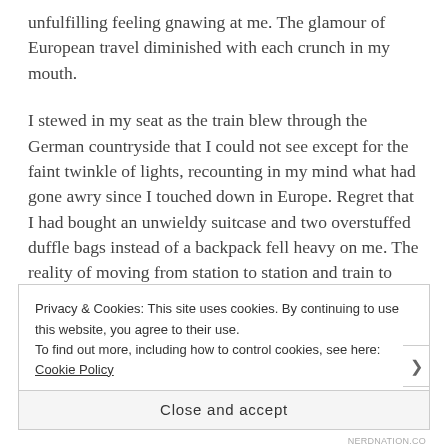unfulfilling feeling gnawing at me. The glamour of European travel diminished with each crunch in my mouth.
I stewed in my seat as the train blew through the German countryside that I could not see except for the faint twinkle of lights, recounting in my mind what had gone awry since I touched down in Europe. Regret that I had bought an unwieldy suitcase and two overstuffed duffle bags instead of a backpack fell heavy on me. The reality of moving from station to station and train to train with such bulk blew away my assumption that I was on a one-way trip to student life abroad. I would have been
Privacy & Cookies: This site uses cookies. By continuing to use this website, you agree to their use.
To find out more, including how to control cookies, see here: Cookie Policy
Close and accept